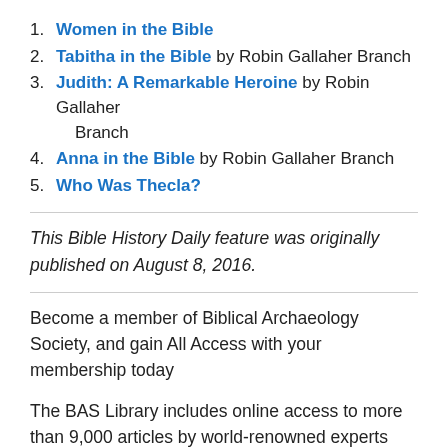1. Women in the Bible
2. Tabitha in the Bible by Robin Gallaher Branch
3. Judith: A Remarkable Heroine by Robin Gallaher Branch
4. Anna in the Bible by Robin Gallaher Branch
5. Who Was Thecla?
This Bible History Daily feature was originally published on August 8, 2016.
Become a member of Biblical Archaeology Society, and gain All Access with your membership today
The BAS Library includes online access to more than 9,000 articles by world-renowned experts and 22,000